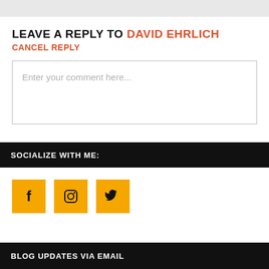LEAVE A REPLY TO DAVID EHRLICH CANCEL REPLY
Enter your comment here...
SOCIALIZE WITH ME:
[Figure (illustration): Three orange square social media icon buttons: Facebook (f), Instagram (camera), Twitter (bird)]
BLOG UPDATES VIA EMAIL